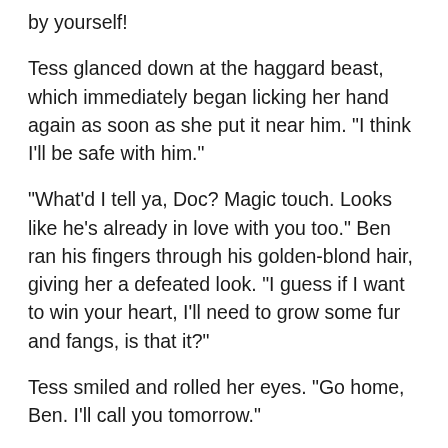by yourself!
Tess glanced down at the haggard beast, which immediately began licking her hand again as soon as she put it near him. "I think I'll be safe with him."
"What'd I tell ya, Doc? Magic touch. Looks like he's already in love with you too." Ben ran his fingers through his golden-blond hair, giving her a defeated look. "I guess if I want to win your heart, I'll need to grow some fur and fangs, is that it?"
Tess smiled and rolled her eyes. "Go home, Ben. I'll call you tomorrow."